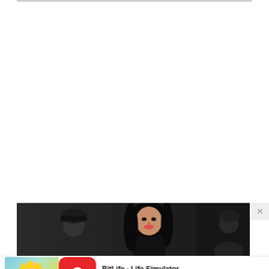[Figure (screenshot): Screenshot of a mobile webpage showing a mostly white/blank content area with a dark photo banner at the bottom showing a woman with long dark hair in a dark scene, and a mobile advertisement for BitLife - Life Simulator at the very bottom with a close (X) button in the upper right of the photo area.]
BitLife - Life Simulator
Install!
Ad